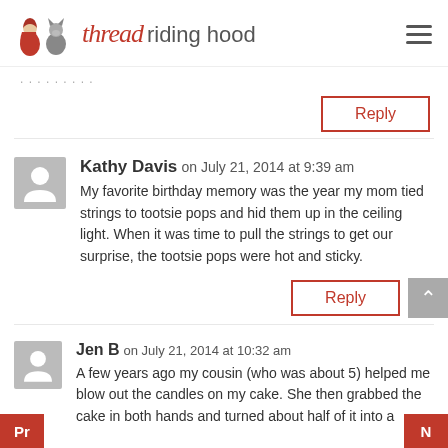thread riding hood
…[truncated]…
Reply
Kathy Davis on July 21, 2014 at 9:39 am
My favorite birthday memory was the year my mom tied strings to tootsie pops and hid them up in the ceiling light. When it was time to pull the strings to get our surprise, the tootsie pops were hot and sticky.
Reply
Jen B on July 21, 2014 at 10:32 am
A few years ago my cousin (who was about 5) helped me blow out the candles on my cake. She then grabbed the cake in both hands and turned about half of it into a